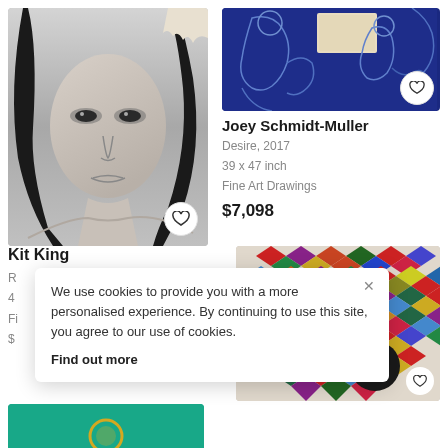[Figure (photo): Black and white pencil portrait drawing of a young woman with long dark hair, realistic style]
[Figure (photo): Blue ink or pencil drawing showing figures, partially visible, dark blue tones]
Joey Schmidt-Muller
Desire, 2017
39 x 47 inch
Fine Art Drawings
$7,098
Kit King
R
4
Fi
$
[Figure (photo): Colorful geometric tile/diamond pattern artwork on light background]
We use cookies to provide you with a more personalised experience. By continuing to use this site, you agree to our use of cookies.
Find out more
[Figure (photo): Teal/green colored partial image at bottom left]
[Figure (illustration): Chat support button - dark circle with white chat icon]